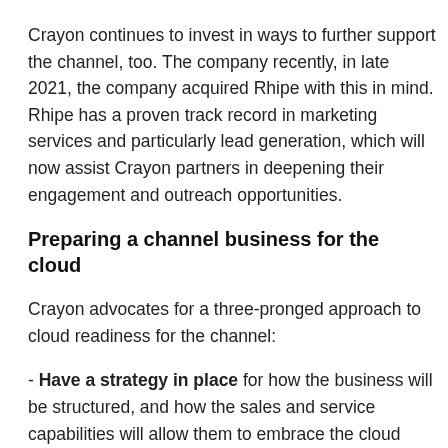Crayon continues to invest in ways to further support the channel, too. The company recently, in late 2021, the company acquired Rhipe with this in mind. Rhipe has a proven track record in marketing services and particularly lead generation, which will now assist Crayon partners in deepening their engagement and outreach opportunities.
Preparing a channel business for the cloud
Crayon advocates for a three-pronged approach to cloud readiness for the channel:
- Have a strategy in place for how the business will be structured, and how the sales and service capabilities will allow them to embrace the cloud opportunity. This means adapting the business model to a new way of creating,